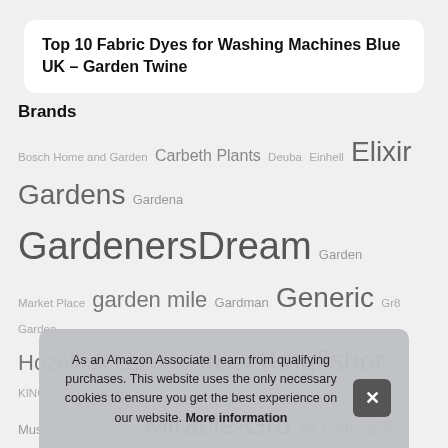Top 10 Fabric Dyes for Washing Machines Blue UK – Garden Twine
Brands
Bosch Home and Garden Carbeth Plants Deuba Einhell Elixir Gardens Gardena GardenersDream Garden Market Place garden mile Gardman Generic Gr8 Garden Hozelock Ltd Karcher Keter Kingfisher KINGLAKE La Jolie Muse Maison & White Miracle-Gro Mr Fothergills Nutley's Outsunny Oypla Peckish Plant Theatre Premier Se... Ja... M... Wo...
As an Amazon Associate I earn from qualifying purchases. This website uses the only necessary cookies to ensure you get the best experience on our website. More information